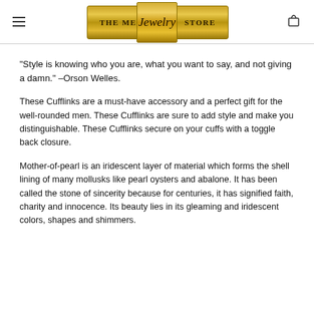The Men's Jewelry Store
“Style is knowing who you are, what you want to say, and not giving a damn.” –Orson Welles.
These Cufflinks are a must-have accessory and a perfect gift for the well-rounded men. These Cufflinks are sure to add style and make you distinguishable. These Cufflinks secure on your cuffs with a toggle back closure.
Mother-of-pearl is an iridescent layer of material which forms the shell lining of many mollusks like pearl oysters and abalone. It has been called the stone of sincerity because for centuries, it has signified faith, charity and innocence. Its beauty lies in its gleaming and iridescent colors, shapes and shimmers.